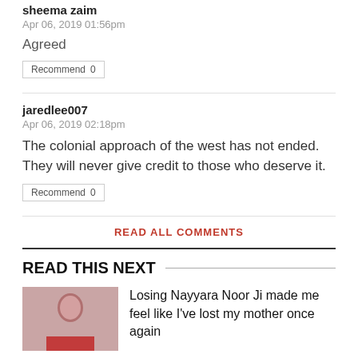sheema zaim
Apr 06, 2019 01:56pm
Agreed
Recommend  0
jaredlee007
Apr 06, 2019 02:18pm
The colonial approach of the west has not ended. They will never give credit to those who deserve it.
Recommend  0
READ ALL COMMENTS
READ THIS NEXT
Losing Nayyara Noor Ji made me feel like I've lost my mother once again